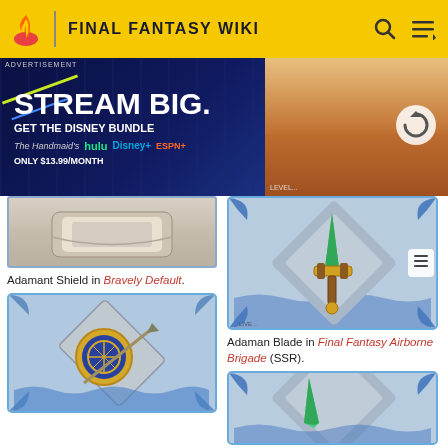FINAL FANTASY WIKI
[Figure (screenshot): Advertisement banner: STREAM BIG. GET THE DISNEY BUNDLE - hulu, Disney+, ESPN+, ONLY $13.99/MONTH. Right side shows a video player with a refresh icon.]
[Figure (photo): Adamant Shield item artwork from Bravely Default game, showing decorative shield bottom portion]
Adamant Shield in Bravely Default.
[Figure (illustration): Card artwork showing a shield/defensive item with blue decorative border in Final Fantasy Airborne Brigade style]
[Figure (illustration): Adaman Blade card artwork from Final Fantasy Airborne Brigade showing a sword with green and gold design on grey background with blue decorative border]
Adaman Blade in Final Fantasy Airborne Brigade (SSR).
[Figure (illustration): Another card artwork from Final Fantasy Airborne Brigade showing lower portion of an item card with blue decorative border and green/teal sword]